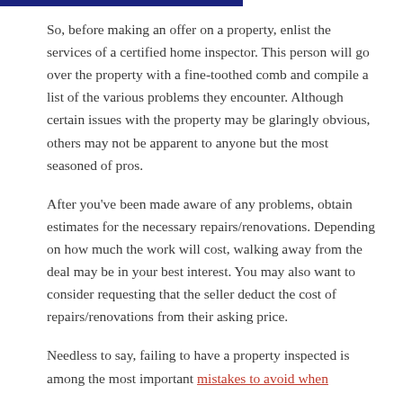So, before making an offer on a property, enlist the services of a certified home inspector. This person will go over the property with a fine-toothed comb and compile a list of the various problems they encounter. Although certain issues with the property may be glaringly obvious, others may not be apparent to anyone but the most seasoned of pros.
After you've been made aware of any problems, obtain estimates for the necessary repairs/renovations. Depending on how much the work will cost, walking away from the deal may be in your best interest. You may also want to consider requesting that the seller deduct the cost of repairs/renovations from their asking price.
Needless to say, failing to have a property inspected is among the most important mistakes to avoid when